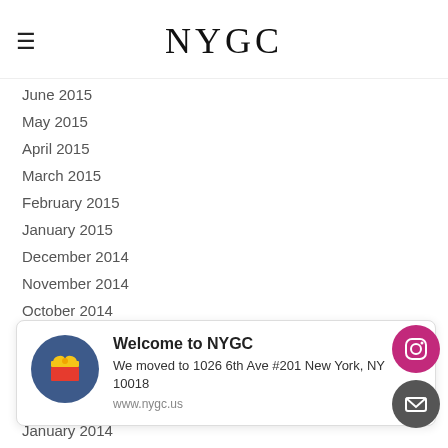NYGC
June 2015
May 2015
April 2015
March 2015
February 2015
January 2015
December 2014
November 2014
October 2014
September 2014
August 2014
July 2014
June 2014
Welcome to NYGC
We moved to 1026 6th Ave #201 New York, NY 10018
www.nygc.us
January 2014